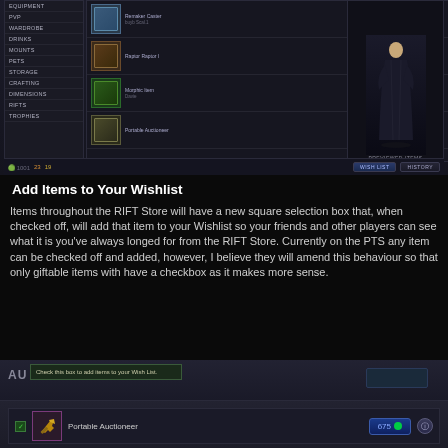[Figure (screenshot): RIFT Store game UI screenshot showing a wishlist panel with item rows including Remaker Caster, Raptor Raptor, Morphic Item Davie, and Portable Auctioneer, with cost badges in blue, a character preview on the right showing a robed figure, and navigation tabs at the bottom including WISH LIST and HISTORY.]
Add Items to Your Wishlist
Items throughout the RIFT Store will have a new square selection box that, when checked off, will add that item to your Wishlist so your friends and other players can see what it is you've always longed for from the RIFT Store. Currently on the PTS any item can be checked off and added, however, I believe they will amend this behaviour so that only giftable items with have a checkbox as it makes more sense.
[Figure (screenshot): RIFT Store bottom screenshot showing a tooltip 'Check this box to add items to your Wish List.' over an AU / HOUSE tab area, and a Portable Auctioneer item row with a checked checkbox, gold hammer icon, item name, and a blue cost badge showing 675 with a green gem icon, plus an info button.]